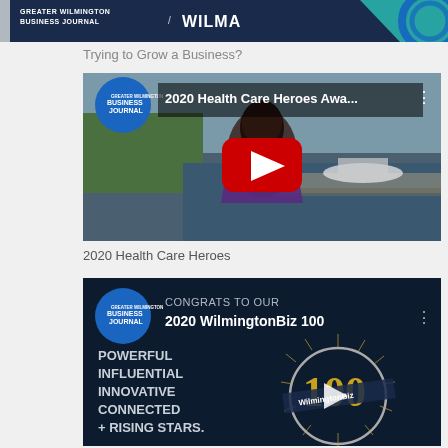[Figure (screenshot): Greater Wilmington Business Journal / WILMA header banner with teal and blue design elements]
Trying to Grow a Business?
[Figure (screenshot): YouTube video thumbnail: 2020 Health Care Heroes Awa... - Greater Wilmington Business Journal logo, woman standing in front of waterfront, red YouTube play button]
2020 Health Care Heroes
[Figure (screenshot): YouTube video thumbnail: 2020 WilmingtonBiz 100 - dark navy background with CONGRATS TO OUR text, POWERFUL INFLUENTIAL INNOVATIVE CONNECTED + RISING STARS text, circular 100 logo, Greater Wilmington Business Journal logo]